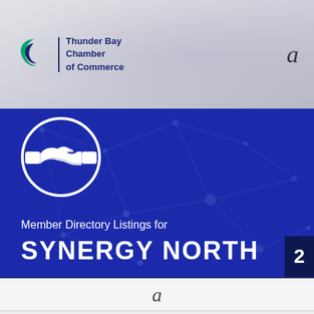[Figure (logo): Thunder Bay Chamber of Commerce logo with crescent/leaf icon and text, on a grey gradient banner background]
a
[Figure (illustration): Dark blue banner with network dot-and-line background, white handshake icon in circle, text 'Member Directory Listings for' and 'SYNERGY NORTH', page number 2 in dark box]
a
[Figure (photo): Partial view of a logo at the bottom of the page on light grey background]